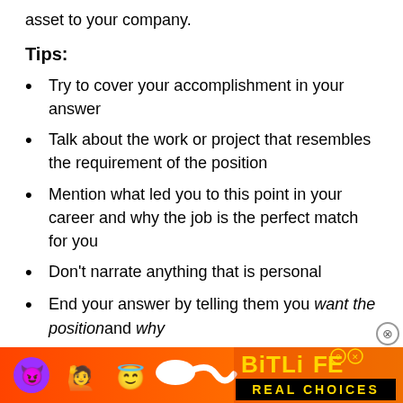asset to your company.
Tips:
Try to cover your accomplishment in your answer
Talk about the work or project that resembles the requirement of the position
Mention what led you to this point in your career and why the job is the perfect match for you
Don't narrate anything that is personal
End your answer by telling them you want the position and why
Use selective terminology in your answer like problem-solving, innovative, fast-paced, creative and so on
[Figure (other): BitLife app advertisement banner with emoji characters (devil, person with raised hands, winking face with halo), BitLife logo in yellow text, and 'REAL CHOICES' text on black background]